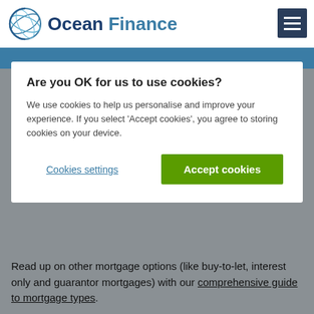Ocean Finance
Are you OK for us to use cookies?
We use cookies to help us personalise and improve your experience. If you select 'Accept cookies', you agree to storing cookies on your device.
Cookies settings   Accept cookies
Read up on other mortgage options (like buy-to-let, interest only and guarantor mortgages) with our comprehensive guide to mortgage types.
YOUR HOME MAY BE REPOSSESSED IF YOU DO NOT KEEP UP REPAYMENTS ON A MORTGAGE OR ANY OTHER DEBT SECURED ON IT.
THINK CAREFULLY BEFORE SECURING OTHER DEBTS